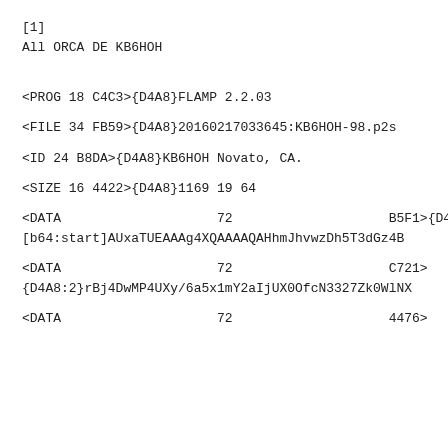[1]
All ORCA DE KB6HOH
<PROG 18 C4C3>{D4A8}FLAMP 2.2.03
<FILE 34 FB59>{D4A8}20160217033645:KB6HOH-98.p2s
<ID 24 B8DA>{D4A8}KB6HOH Novato, CA.
<SIZE 16 4422>{D4A8}1169 19 64
<DATA                    72                    B5F1>{D4A8:1}
[b64:start]AUxaTUEAAAg4XQAAAAQAHhmJhvwzDh5T3dGz4B
<DATA                    72                    C721>
{D4A8:2}rBj4DwMP4UXy/6a5x1mY2aIjUX0OfcN3327Zk0WlNX
<DATA                    72                    4476>